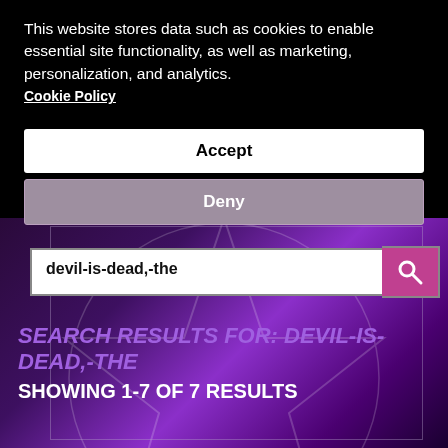This website stores data such as cookies to enable essential site functionality, as well as marketing, personalization, and analytics. Cookie Policy
Accept
Deny
[Figure (screenshot): Website search interface with dark purple/black background featuring a pentagram star design. Contains a search bar showing 'devil-is-dead,-the' with a pink search button, and search results heading text.]
devil-is-dead,-the
SEARCH RESULTS FOR: DEVIL-IS-DEAD,-THE
SHOWING 1-7 OF 7 RESULTS